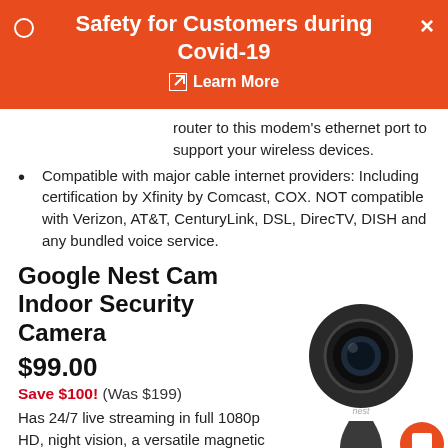Safety for Customers during Covid-19
Learn More
router to this modem's ethernet port to support your wireless devices.
Compatible with major cable internet providers: Including certification by Xfinity by Comcast, COX. NOT compatible with Verizon, AT&T, CenturyLink, DSL, DirecTV, DISH and any bundled voice service.
Google Nest Cam Indoor Security Camera
$99.00
Save $100! (Was $199)
Has 24/7 live streaming in full 1080p HD, night vision, a versatile magnetic stand, and
[Figure (photo): Google Nest Cam Indoor Security Camera - a black dome-shaped security camera on a magnetic stand with 'nest' branding]